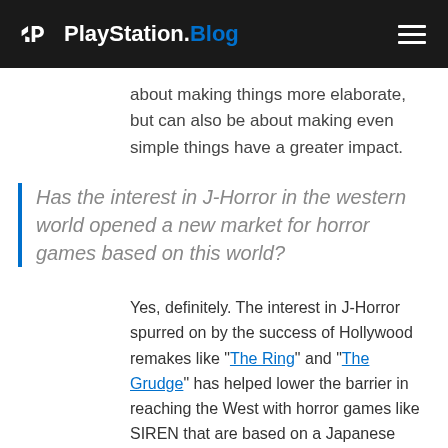PlayStation.Blog
about making things more elaborate, but can also be about making even simple things have a greater impact.
Has the interest in J-Horror in the western world opened a new market for horror games based on this world?
Yes, definitely. The interest in J-Horror spurred on by the success of Hollywood remakes like “The Ring” and “The Grudge” has helped lower the barrier in reaching the West with horror games like SIREN that are based on a Japanese setting.